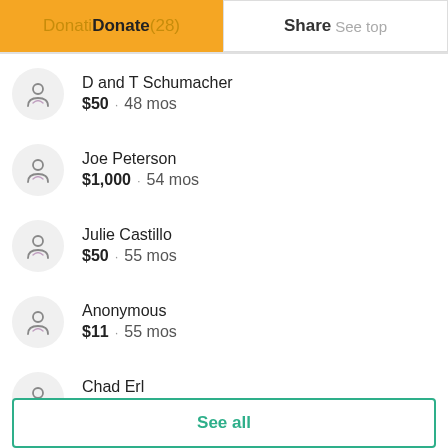Donations (28) | Donate | Share | See top
D and T Schumacher · $50 · 48 mos
Joe Peterson · $1,000 · 54 mos
Julie Castillo · $50 · 55 mos
Anonymous · $11 · 55 mos
Chad Erl · $273 · 55 mos
See all